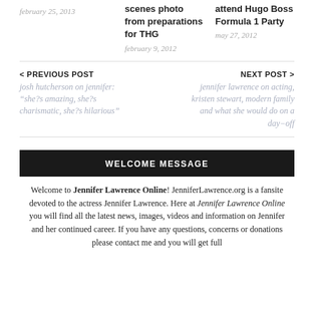february 25, 2013
scenes photo from preparations for THG
february 9, 2012
attend Hugo Boss Formula 1 Party
may 27, 2012
< PREVIOUS POST
josh hutcherson on jennifer: "she?s amazing, she?s charismatic, she?s hilarious"
NEXT POST >
jennifer lawrence on acting, kristen stewart, modern family and what she would do on a day-off
WELCOME MESSAGE
Welcome to Jennifer Lawrence Online! JenniferLawrence.org is a fansite devoted to the actress Jennifer Lawrence. Here at Jennifer Lawrence Online you will find all the latest news, images, videos and information on Jennifer and her continued career. If you have any questions, concerns or donations please contact me and you will get full